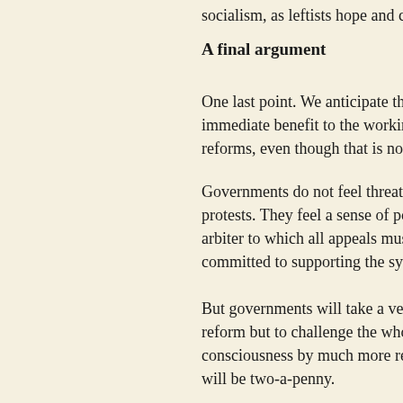socialism, as leftists hope and conservatives fear. It is a...
A final argument
One last point. We anticipate that it is precisely the spre... immediate benefit to the working class. Advocacy of so... reforms, even though that is not its main purpose.
Governments do not feel threatened by appeals to act on... protests. They feel a sense of power and security in the... arbiter to which all appeals must be made. As long as pe... committed to supporting the system as a whole.
But governments will take a very different view when p... reform but to challenge the whole basis of society. Gove... consciousness by much more readily granting reforms. T... will be two-a-penny.
Today 'social-democratic' parties are firmly committed... their inevitable result of admitting a socialist...